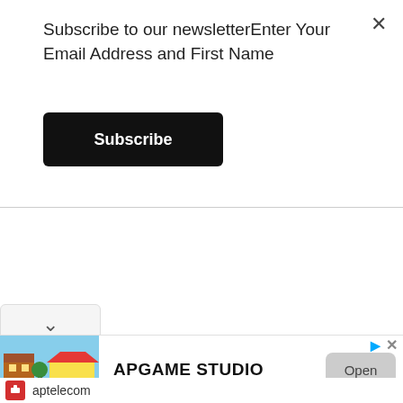Subscribe to our newsletterEnter Your Email Address and First Name
Subscribe
[Figure (screenshot): Ad banner for APGAME STUDIO showing a colorful building/house game screenshot with Open button and aptelecom branding]